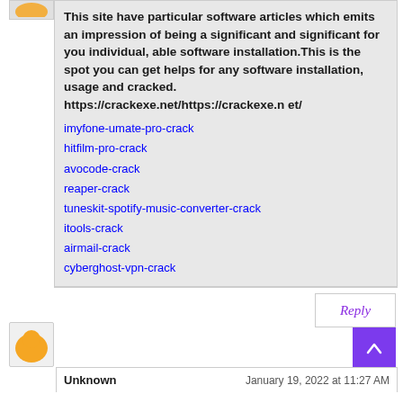This site have particular software articles which emits an impression of being a significant and significant for you individual, able software installation.This is the spot you can get helps for any software installation, usage and cracked. https://crackexe.net/https://crackexe.net/
imyfone-umate-pro-crack
hitfilm-pro-crack
avocode-crack
reaper-crack
tuneskit-spotify-music-converter-crack
itools-crack
airmail-crack
cyberghost-vpn-crack
Reply
Unknown   January 19, 2022 at 11:27 AM